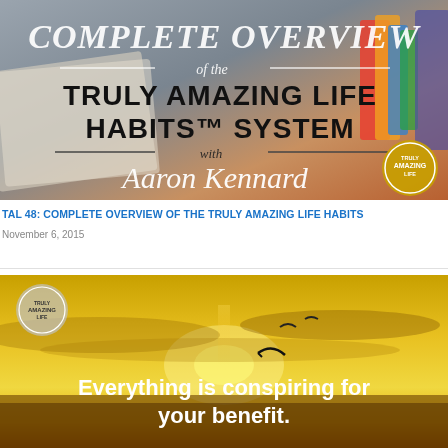[Figure (illustration): Banner image for podcast episode. Dark background with books/notebook. Text overlay in stylized fonts: 'COMPLETE OVERVIEW of the TRULY AMAZING LIFE HABITS™ SYSTEM with Aaron Kennard'. Circular logo badge in bottom right corner.]
TAL 48: COMPLETE OVERVIEW OF THE TRULY AMAZING LIFE HABITS
November 6, 2015
[Figure (illustration): Inspirational image with golden sunset sky and birds. Text overlay reads: 'Everything is conspiring for your benefit.' Small circular logo badge in top left corner.]